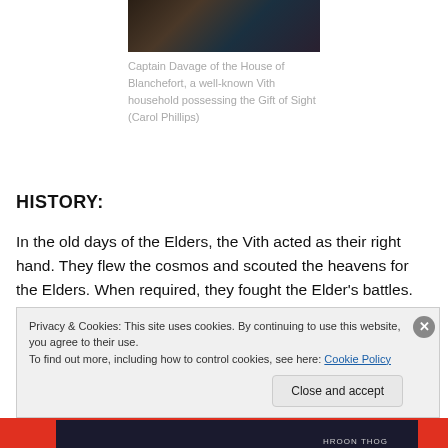[Figure (photo): Partial fantasy character portrait showing a figure in dark robes with glowing blue-green accents]
Captain Davage of the House of Blanchefort, a well-known Vith household possessing the Gift of Sight (Carol Phillips)
HISTORY:
In the old days of the Elders, the Vith acted as their right hand. They flew the cosmos and scouted the heavens for the Elders. When required, they fought the Elder's battles.
Privacy & Cookies: This site uses cookies. By continuing to use this website, you agree to their use.
To find out more, including how to control cookies, see here: Cookie Policy

Close and accept